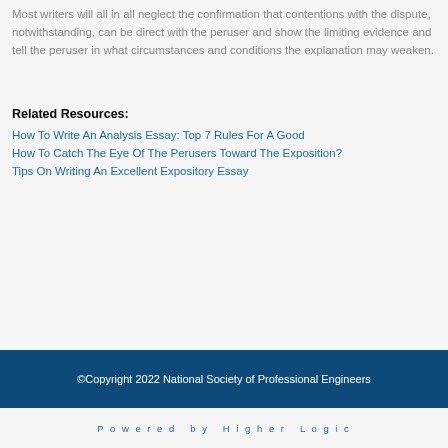Most writers will all in all neglect the confirmation that contentions with the dispute, notwithstanding, can be direct with the peruser and show the limiting evidence and tell the peruser in what circumstances and conditions the explanation may weaken.
Related Resources:
How To Write An Analysis Essay: Top 7 Rules For A Good
How To Catch The Eye Of The Perusers Toward The Exposition?
Tips On Writing An Excellent Expository Essay
©Copyright 2022 National Society of Professional Engineers
Powered by Higher Logic